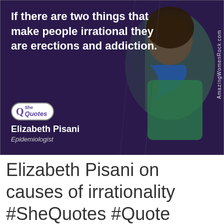[Figure (photo): Quote card image with dark purple background showing Elizabeth Pisani speaking, overlaid with white bold text quote: 'If there are two things that make people irrational they are erections and addiction.' with SheQuotes logo, her name and title 'Epidemiologist', and AmazingWomenRock.com watermark.]
Elizabeth Pisani on causes of irrationality #SheQuotes #Quote #AIDS #decisions